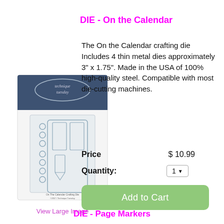DIE - On the Calendar
[Figure (photo): Product image of 'On the Calendar Crafting Die' by Technique Tuesday, showing metal dies on packaging with blue header]
View Large Image
The On the Calendar crafting die Includes 4 thin metal dies approximately 3" x 1.75". Made in the USA of 100% high-quality steel. Compatible with most die-cutting machines.
Price   $ 10.99
Quantity:   1
Add to Cart
DIE - Page Markers